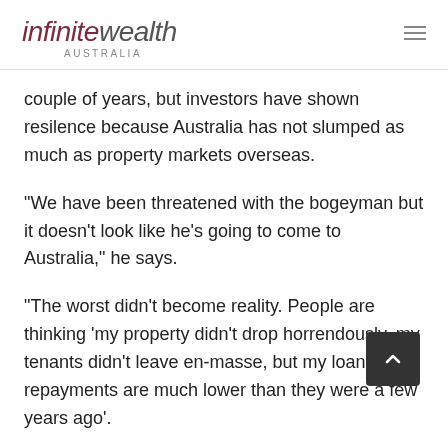infinite wealth AUSTRALIA
couple of years, but investors have shown resilence because Australia has not slumped as much as property markets overseas.
“We have been threatened with the bogeyman but it doesn’t look like he’s going to come to Australia,” he says.
“The worst didn’t become reality. People are thinking ‘my property didn’t drop horrendously, my tenants didn’t leave en-masse, but my loan repayments are much lower than they were a few years ago’.